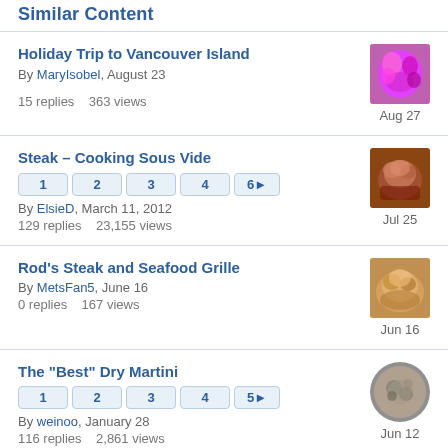Similar Content
Holiday Trip to Vancouver Island
By MaryIsobel, August 23
15 replies   363 views
Aug 27
Steak – Cooking Sous Vide
1 2 3 4 6▶
By ElsieD, March 11, 2012
129 replies   23,155 views
Jul 25
Rod's Steak and Seafood Grille
By MetsFan5, June 16
0 replies   167 views
Jun 16
The "Best" Dry Martini
1 2 3 4 5▶
By weinoo, January 28
116 replies   2,861 views
Jun 12